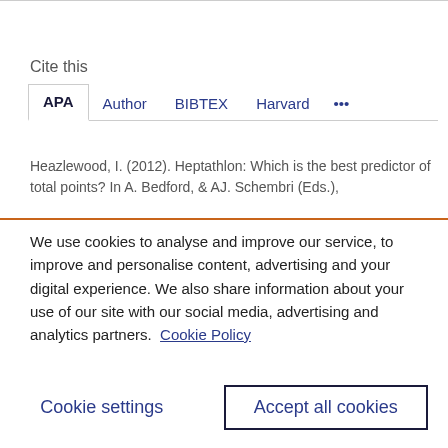Cite this
APA   Author   BIBTEX   Harvard   •••
Heazlewood, I. (2012). Heptathlon: Which is the best predictor of total points? In A. Bedford, & AJ. Schembri (Eds.),
We use cookies to analyse and improve our service, to improve and personalise content, advertising and your digital experience. We also share information about your use of our site with our social media, advertising and analytics partners.  Cookie Policy
Cookie settings
Accept all cookies